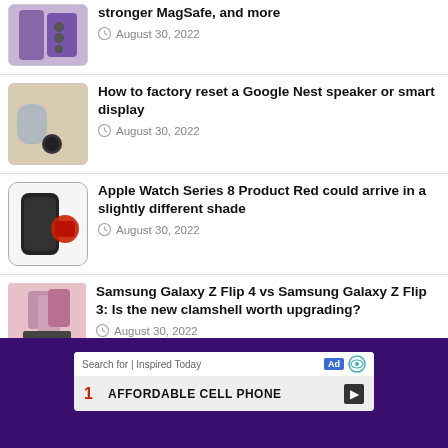stronger MagSafe, and more — August 30, 2022
How to factory reset a Google Nest speaker or smart display — August 30, 2022
Apple Watch Series 8 Product Red could arrive in a slightly different shade — August 30, 2022
Samsung Galaxy Z Flip 4 vs Samsung Galaxy Z Flip 3: Is the new clamshell worth upgrading? — August 30, 2022
Search for | Inspired Today  Ad  AFFORDABLE CELL PHONE